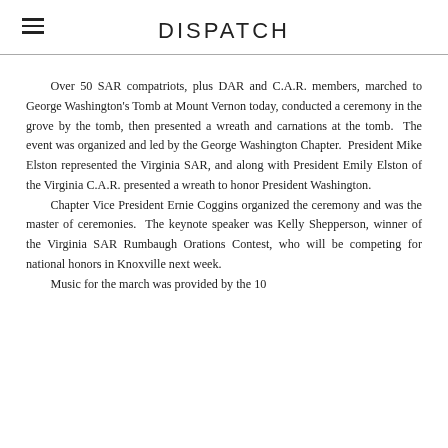DISPATCH
Over 50 SAR compatriots, plus DAR and C.A.R. members, marched to George Washington's Tomb at Mount Vernon today, conducted a ceremony in the grove by the tomb, then presented a wreath and carnations at the tomb.  The event was organized and led by the George Washington Chapter.  President Mike Elston represented the Virginia SAR, and along with President Emily Elston of the Virginia C.A.R. presented a wreath to honor President Washington.
	Chapter Vice President Ernie Coggins organized the ceremony and was the master of ceremonies.  The keynote speaker was Kelly Shepperson, winner of the Virginia SAR Rumbaugh Orations Contest, who will be competing for national honors in Knoxville next week.
	Music for the march was provided by the 10